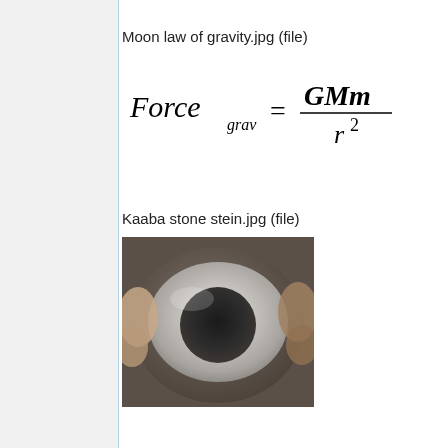Moon law of gravity.jpg (file)
Kaaba stone stein.jpg (file)
[Figure (photo): Photo of the Kaaba Black Stone, showing hands touching a smooth white/silver oval-shaped stone with a dark hollow center.]